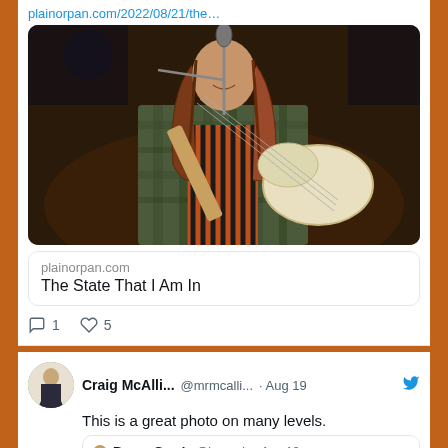plainorpan.com/2022/08/21/the…
[Figure (photo): Person with long hair playing a white guitar at a microphone, indoor concert setting, dark warm-toned background]
plainorpan.com
The State That I Am In
1  5
Craig McAlli... @mrmcalli... · Aug 19
This is a great photo on many levels.
Bruce Gorrie @bsgorrie · Aug 18
Arsenal v Manchester United, Highbury 1973
[Figure (photo): Small thumbnail of crowd at a football match, Arsenal v Manchester United, Highbury 1973]